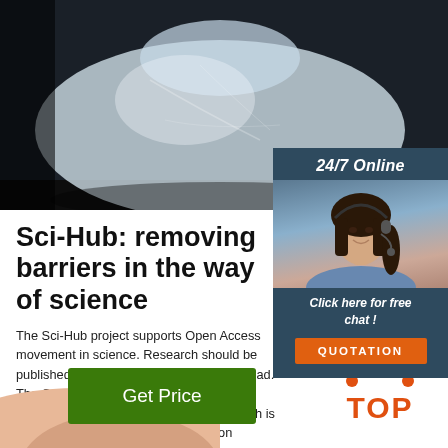[Figure (photo): White translucent bag/package on dark background]
[Figure (photo): 24/7 Online chat widget sidebar with woman wearing headset, 'Click here for free chat!' text and orange QUOTATION button]
Sci-Hub: removing barriers in the way of science
The Sci-Hub project supports Open Access movement in science. Research should be published in open access, i.e. be free to read. The Open Access is a new and advanced standard of scientific communication, which is going to replace outdated subscription models.
[Figure (other): Green 'Get Price' button]
[Figure (logo): TOP logo with orange dots and orange text]
[Figure (photo): Partial bottom photo - skin/body part]